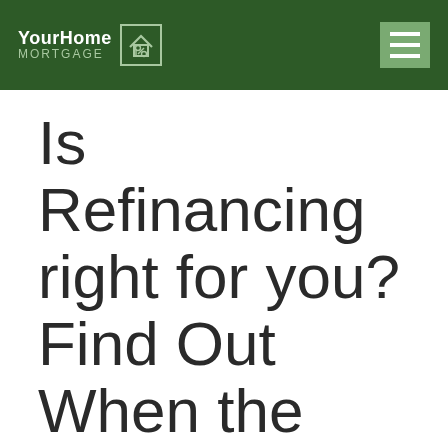[Figure (logo): YourHome Mortgage logo with house/percent icon on dark green navigation bar with hamburger menu button]
Is Refinancing right for you? Find Out When the Best Time is to Refinance